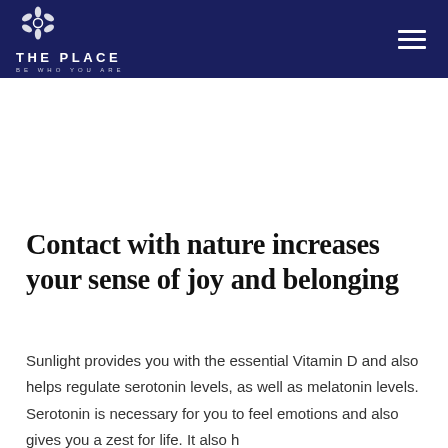THE PLACE — BE WHO YOU ARE
Contact with nature increases your sense of joy and belonging
Sunlight provides you with the essential Vitamin D and also helps regulate serotonin levels, as well as melatonin levels. Serotonin is necessary for you to feel emotions and also gives you a zest for life. It also has...